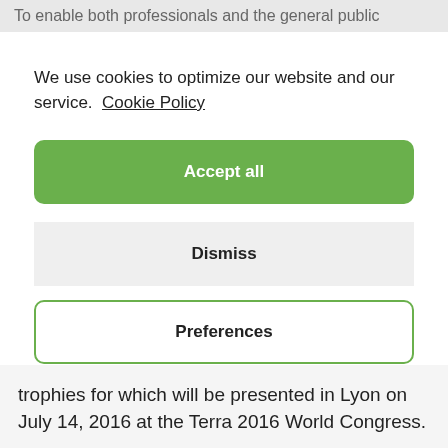To enable both professionals and the general public
We use cookies to optimize our website and our service.  Cookie Policy
Accept all
Dismiss
Preferences
trophies for which will be presented in Lyon on July 14, 2016 at the Terra 2016 World Congress.